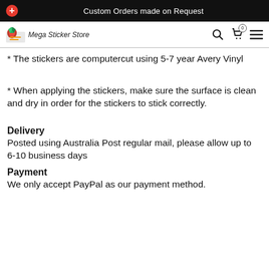Custom Orders made on Request
[Figure (logo): Mega Sticker Store logo with navigation icons]
* The stickers are computercut using 5-7 year Avery Vinyl
* When applying the stickers, make sure the surface is clean and dry in order for the stickers to stick correctly.
Delivery
Posted using Australia Post regular mail, please allow up to 6-10 business days
Payment
We only accept PayPal as our payment method.